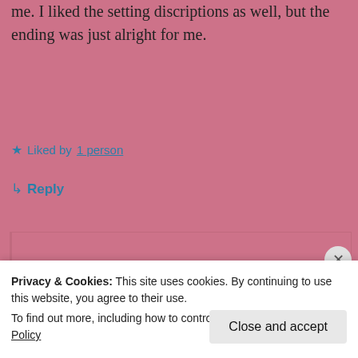me. I liked the setting discriptions as well, but the ending was just alright for me.
★ Liked by 1 person
↳ Reply
wittysarcasticbookclub
October 13, 2020 at 1:03 am
Privacy & Cookies: This site uses cookies. By continuing to use this website, you agree to their use.
To find out more, including how to control cookies, see here: Cookie Policy